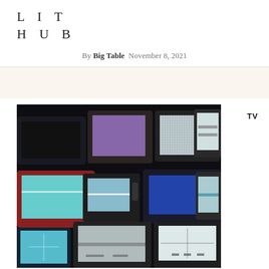LIT HUB
By Big Table  November 8, 2021
[Figure (photo): A collection of vintage CRT televisions stacked together, most displaying static or glowing screens in a dark setting. Screens show various colors including cyan, purple, white static, and blue.]
TV